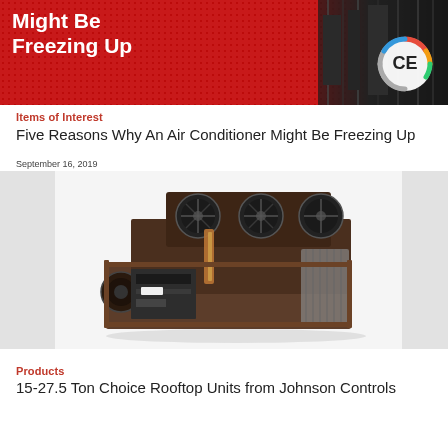[Figure (illustration): Banner image with red background, bold white text 'Might Be Freezing Up', CE logo circle on right, dark HVAC equipment visible in background]
Items of Interest
Five Reasons Why An Air Conditioner Might Be Freezing Up
September 16, 2019
[Figure (photo): Rooftop HVAC unit, brown/dark metal casing, fans on top, internal components visible, cut-away view on white/gray background]
Products
15-27.5 Ton Choice Rooftop Units from Johnson Controls